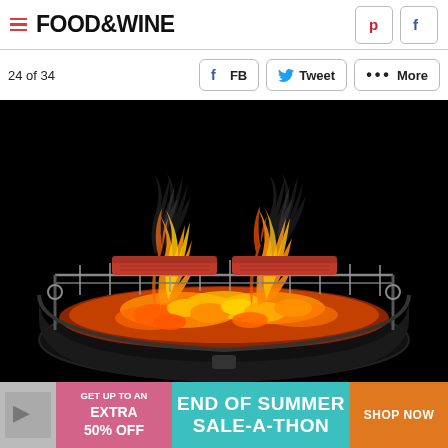FOOD & WINE
24 of 34
[Figure (photo): Two burger patties cooking on a grill grate over glowing charcoal fire with smoke rising against a black background]
[Figure (infographic): Advertisement banner: GET UP TO AN EXTRA 50% OFF | END OF SUMMER SALE-A-THON | SHOP NOW]